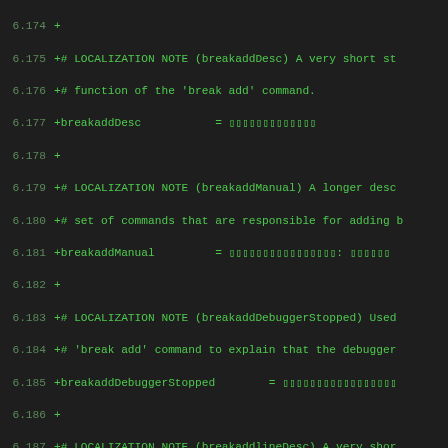[Figure (screenshot): Code diff/patch view showing localization notes and property assignments in a monospace green-on-dark terminal style. Line numbers from 6.174 to 6.206 are shown on the left. Lines begin with '+' prefix indicating additions. Content includes LOCALIZATION NOTE comments and property assignments for breakaddDesc, breakaddManual, breakaddDebuggerStopped, breakaddlineDesc, breakaddlineFileDesc, breakaddlineLineDesc, breakdelDesc, and breakdelBreakidDesc.]